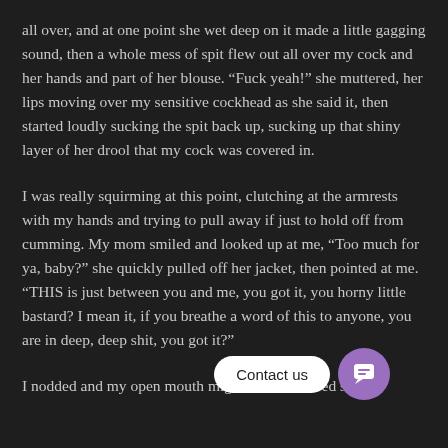all over, and at one point she wet deep on it made a little gagging sound, then a whole mess of spit flew out all over my cock and her hands and part of her blouse. “Fuck yeah!” she muttered, her lips moving over my sensitive cockhead as she said it, then started loudly sucking the spit back up, sucking up that shiny layer of her drool that my cock was covered in.
I was really squirming at this point, clutching at the armrests with my hands and trying to pull away if just to hold off from cumming. My mom smiled and looked up at me, “Too much for ya, baby?” she quickly pulled off her jacket, then pointed at me. “THIS is just between you and me, you got it, you horny little bastard? I mean it, if you breathe a word of this to anyone, you are in deep, deep shit, you got it?”
I nodded and my open mouth might have muttered some